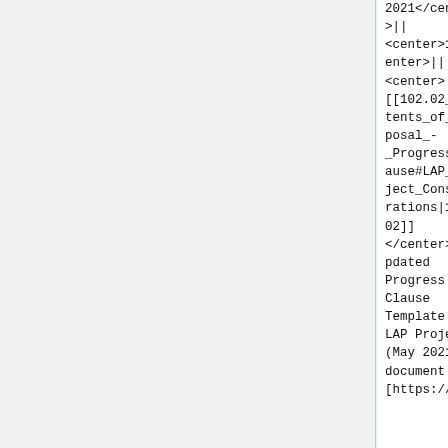2021</center>||<center>1</center>||<center>[[102.02_Contents_of_Proposal_-_Progress_Clause#LAP_Project_Considerations|102.02]]</center>||Updated Progress Clause Template for LAP Projects (May 2021) document||[https://mdo
2021</center>||<center>1</center>||<center>[[102.02_Contents_of_Proposal_-_Progress_Clause#LAP_Project_Considerations|102.02]]</center>||Updated Progress Clause Template for LAP Projects (May 2021) document||[https://mdo